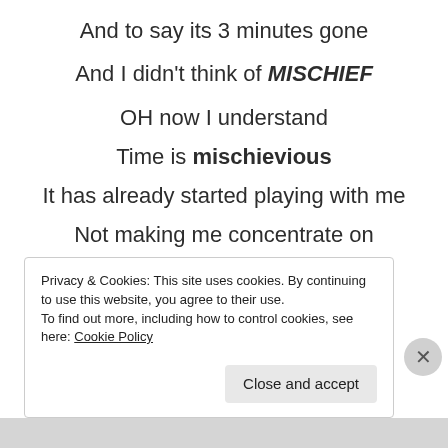And to say its 3 minutes gone
And I didn't think of MISCHIEF
OH now I understand
Time is mischievious
It has already started playing with me
Not making me concentrate on
Privacy & Cookies: This site uses cookies. By continuing to use this website, you agree to their use. To find out more, including how to control cookies, see here: Cookie Policy